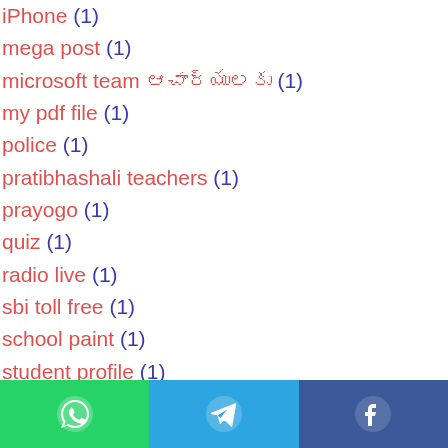iPhone (1)
mega post (1)
microsoft team ఆచార్యులకు (1)
my pdf file (1)
police (1)
pratibhashali teachers (1)
prayogo (1)
quiz (1)
radio live (1)
sbi toll free (1)
school paint (1)
student profile (1)
vision (1)
విద్య (1)
సర్కారు బడికి ఆహ్వానం పలికాం (1)
మన పాఠశాల (1)
WhatsApp | Telegram | Facebook share buttons